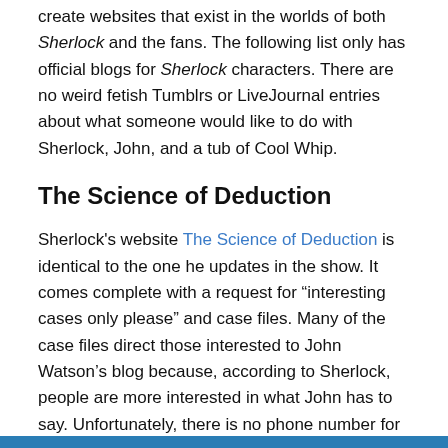create websites that exist in the worlds of both Sherlock and the fans. The following list only has official blogs for Sherlock characters. There are no weird fetish Tumblrs or LiveJournal entries about what someone would like to do with Sherlock, John, and a tub of Cool Whip.
The Science of Deduction
Sherlock's website The Science of Deduction is identical to the one he updates in the show. It comes complete with a request for “interesting cases only please” and case files. Many of the case files direct those interested to John Watson’s blog because, according to Sherlock, people are more interested in what John has to say. Unfortunately, there is no phone number for female fans to call Benedict Cumberbatch asking for him to deduce some things.
[Figure (other): Partial blue banner/bar visible at the bottom of the page]